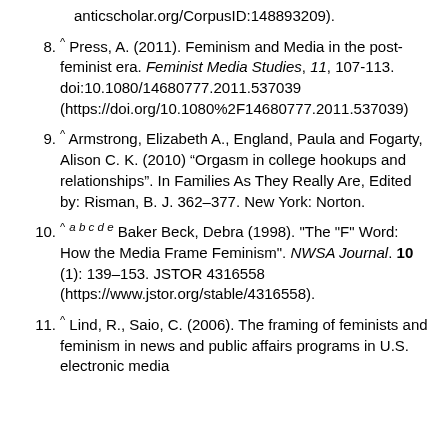anticscholar.org/CorpusID:148893209).
8. ^ Press, A. (2011). Feminism and Media in the post-feminist era. Feminist Media Studies, 11, 107-113. doi:10.1080/14680777.2011.537039 (https://doi.org/10.1080%2F14680777.2011.537039)
9. ^ Armstrong, Elizabeth A., England, Paula and Fogarty, Alison C. K. (2010) “Orgasm in college hookups and relationships”. In Families As They Really Are, Edited by: Risman, B. J. 362–377. New York: Norton.
10. ^ a b c d e Baker Beck, Debra (1998). "The "F" Word: How the Media Frame Feminism". NWSA Journal. 10 (1): 139–153. JSTOR 4316558 (https://www.jstor.org/stable/4316558).
11. ^ Lind, R., Saio, C. (2006). The framing of feminists and feminism in news and public affairs programs in U.S. electronic media